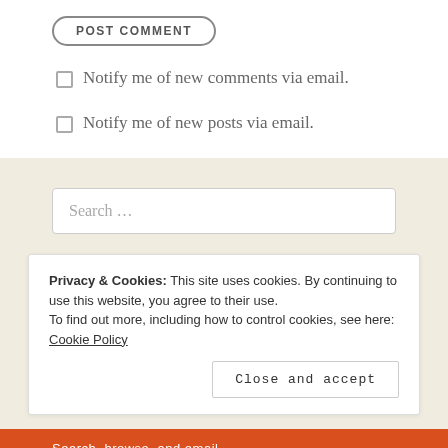POST COMMENT
Notify me of new comments via email.
Notify me of new posts via email.
Search …
Privacy & Cookies: This site uses cookies. By continuing to use this website, you agree to their use. To find out more, including how to control cookies, see here: Cookie Policy
Close and accept
Search, browse, and email